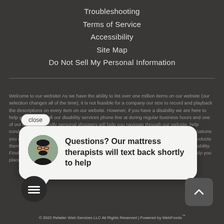Troubleshooting
Terms of Service
Accessibility
Site Map
Do Not Sell My Personal Information
Welcome to our website! As we have the ability to list over one million items on our website (our selection changes all of the time), it is not feasible for a company our size to record and playback the descriptions on every item on our website. However, if you have a disability we are here to help you. Please call our disability services phone line at during regular business hours and one of our kind and friendly personal shoppers will help you navigate through our website, help conduct advanced searches, help you choose the item you are looking for with the specifications you are seeking, read you the specifications of any item and consult with you about the products themselves. There is no charge for the help of this personal shopper for anyone with a disability. Finally, your personal shopper will explain our Privacy Policy and Terms of Service, and help you place an order if you so desire.
[Figure (other): Chat popup with avatar photo of a man and text: Questions? Our mattress therapists will text back shortly to help]
© 2022 Retailer Web Services LLC All Rights Reserved | Powered by WebFronts™